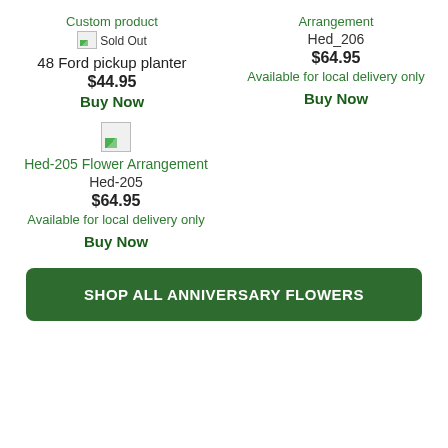Custom product
[Figure (other): Broken image placeholder with Sold Out label]
48 Ford pickup planter
$44.95
Buy Now
Arrangement
Hed_206
$64.95
Available for local delivery only
Buy Now
[Figure (other): Broken image thumbnail for Hed-205 Flower Arrangement]
Hed-205 Flower Arrangement
Hed-205
$64.95
Available for local delivery only
Buy Now
SHOP ALL ANNIVERSARY FLOWERS